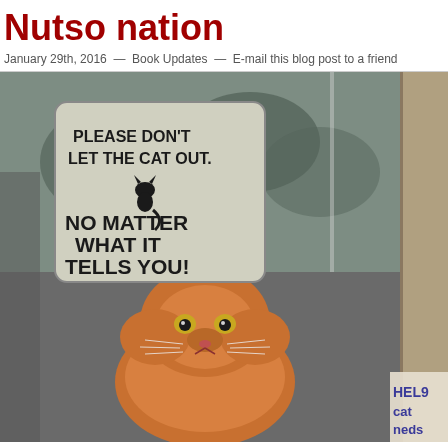Nutso nation
January 29th, 2016 — Book Updates — E-mail this blog post to a friend
[Figure (photo): Photo of a grumpy-looking orange Persian cat sitting behind a glass door/window. A sign on the glass reads: 'PLEASE DON'T LET THE CAT OUT. NO MATTER WHAT IT TELLS YOU!' with a cat silhouette. In the bottom right corner, a handwritten note partially visible reads 'HELP cat neds'.]